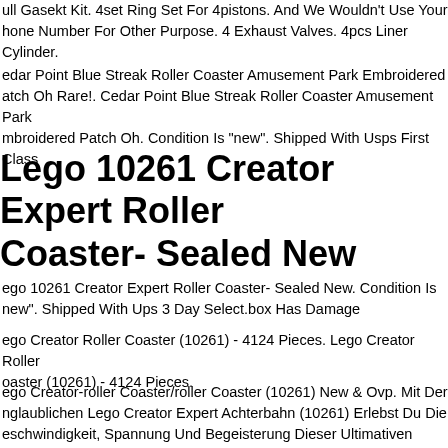ull Gasekt Kit. 4set Ring Set For 4pistons. And We Wouldn't Use Your hone Number For Other Purpose. 4 Exhaust Valves. 4pcs Liner Cylinder.
edar Point Blue Streak Roller Coaster Amusement Park Embroidered atch Oh Rare!. Cedar Point Blue Streak Roller Coaster Amusement Park mbroidered Patch Oh. Condition Is "new". Shipped With Usps First Class
Lego 10261 Creator Expert Roller Coaster- Sealed New
ego 10261 Creator Expert Roller Coaster- Sealed New. Condition Is new". Shipped With Ups 3 Day Select.box Has Damage
ego Creator Roller Coaster (10261) - 4124 Pieces. Lego Creator Roller oaster (10261) - 4124 Pieces.
ego Creator-roller Coaster/roller Coaster (10261) New & Ovp. Mit Der nglaublichen Lego Creator Expert Achterbahn (10261) Erlebst Du Die eschwindigkeit, Spannung Und Begeisterung Dieser Ultimativen ahrmarkttattraktion. Klapp Die Schobgel Hinunter, Um Die Fahrgste In De agen Zu Sichern. Und Lso Die Bremse, Um Den Zug Zum Fu Der Erste